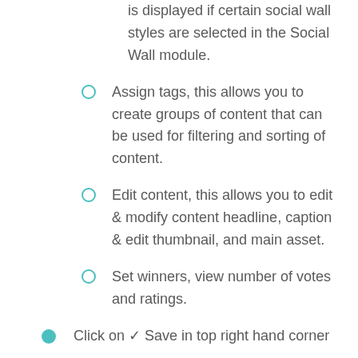is displayed if certain social wall styles are selected in the Social Wall module.
Assign tags, this allows you to create groups of content that can be used for filtering and sorting of content.
Edit content, this allows you to edit & modify content headline, caption & edit thumbnail, and main asset.
Set winners, view number of votes and ratings.
Click on ✓ Save in top right hand corner